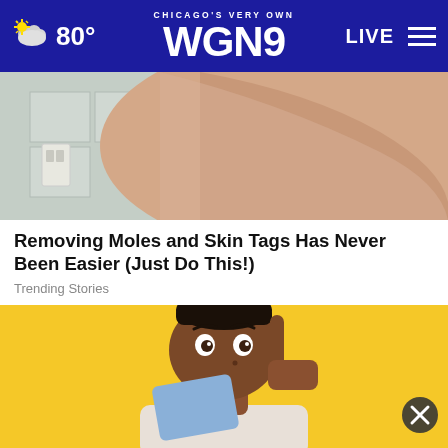CHICAGO'S VERY OWN WGN9  80°  LIVE
[Figure (photo): Close-up photo of a person's neck and chin area, showing skin texture, bathroom tiles visible in background]
Removing Moles and Skin Tags Has Never Been Easier (Just Do This!)
Trending Stories
[Figure (photo): Young man with surprised/shocked expression against yellow background, pointing upward with one finger, with a blue object partially visible]
[Figure (other): Advertisement for PatrickCars.com - Patrick car dealership logo, PATRICKCARS.COM, Schaumburg/Naperville, IT'S TIME TO FLIP YOUR CAR, with car brand logos]